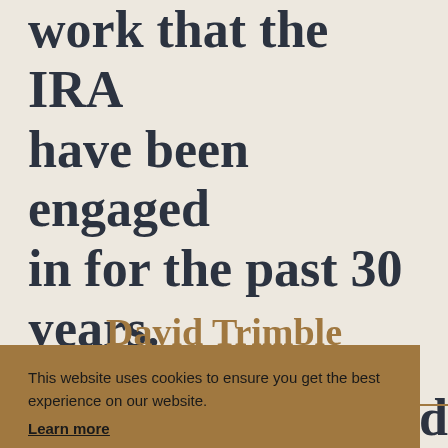work that the IRA have been engaged in for the past 30 years.
David Trimble
This website uses cookies to ensure you get the best experience on our website. Learn more  Got it!
IRA disarmament) that